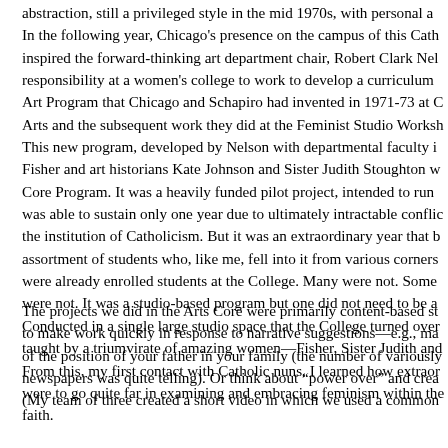abstraction, still a privileged style in the mid 1970s, with personal a... In the following year, Chicago's presence on the campus of this Cath... inspired the forward-thinking art department chair, Robert Clark Nel... responsibility at a women's college to work to develop a curriculum... Art Program that Chicago and Schapiro had invented in 1971-73 at C... Arts and the subsequent work they did at the Feminist Studio Worksh... This new program, developed by Nelson with departmental faculty i... Fisher and art historians Kate Johnson and Sister Judith Stoughton w... Core Program. It was a heavily funded pilot project, intended to run... was able to sustain only one year due to ultimately intractable conflic... the institution of Catholicism. But it was an extraordinary year that b... assortment of students who, like me, fell into it from various corners... were already enrolled students at the College. Many were not. Some... were not. It was a studio-based program but one did not need to be a... Conducted in a single large studio space that the College turned over... taught by a triumvirate of amazing women—Fisher, Sister Judith and... From this, my first contact with Catholic nuns, I learned how extraor... were to go quite far in examining and embracing feminism within the... faith.
The projects we did in the Arts Core were primarily content-based st... to make work quickly in response to narrative suggestions—e.g., ma... of the position of your father in your family (the number of variously... newspapers was quite telling). Or think about "power over" and crea... (My team of three created a short video in which we used a common...